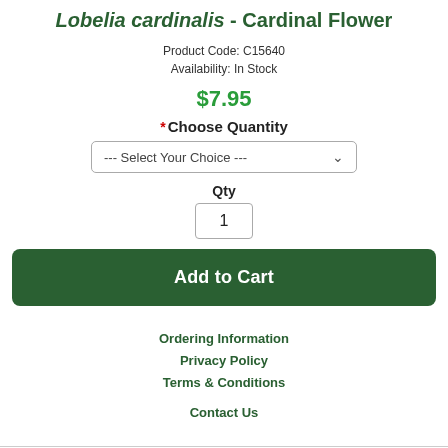Lobelia cardinalis - Cardinal Flower
Product Code: C15640
Availability: In Stock
$7.95
* Choose Quantity
--- Select Your Choice ---
Qty
1
Add to Cart
Ordering Information
Privacy Policy
Terms & Conditions
Contact Us
Wildflower Farm © 2022